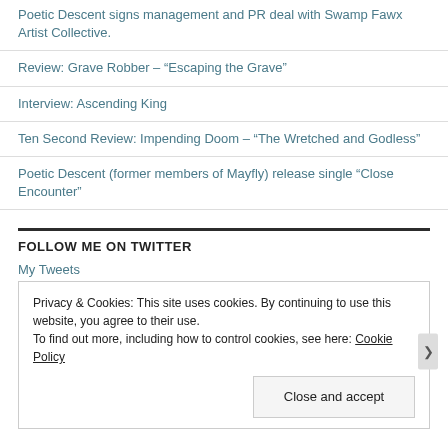Poetic Descent signs management and PR deal with Swamp Fawx Artist Collective.
Review: Grave Robber – “Escaping the Grave”
Interview: Ascending King
Ten Second Review: Impending Doom – “The Wretched and Godless”
Poetic Descent (former members of Mayfly) release single “Close Encounter”
FOLLOW ME ON TWITTER
My Tweets
Privacy & Cookies: This site uses cookies. By continuing to use this website, you agree to their use.
To find out more, including how to control cookies, see here: Cookie Policy
Close and accept